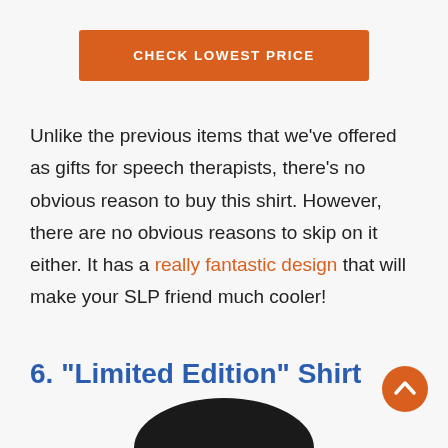CHECK LOWEST PRICE
Unlike the previous items that we've offered as gifts for speech therapists, there's no obvious reason to buy this shirt. However, there are no obvious reasons to skip on it either. It has a really fantastic design that will make your SLP friend much cooler!
6. “Limited Edition” Shirt
[Figure (photo): Bottom portion of a dark/black shirt visible at the bottom of the page]